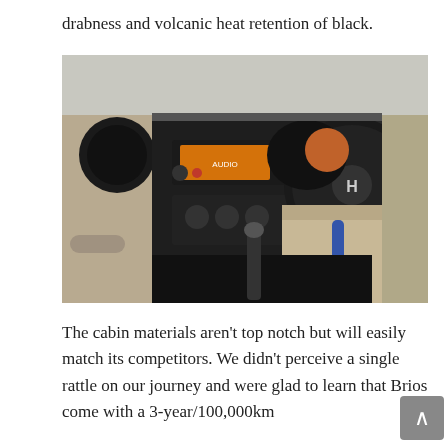drabness and volcanic heat retention of black.
[Figure (photo): Honda Brio car interior showing the dashboard, steering wheel with Honda logo, infotainment system with orange display, climate controls, gear shift lever, and beige/cream colored front seats.]
The cabin materials aren't top notch but will easily match its competitors. We didn't perceive a single rattle on our journey and were glad to learn that Brios come with a 3-year/100,000km